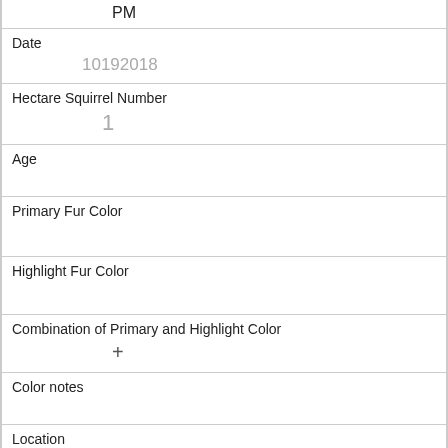PM
Date
10192018
Hectare Squirrel Number
1
Age
Primary Fur Color
Highlight Fur Color
Combination of Primary and Highlight Color
+
Color notes
Location
Above Ground Sighter Measurement
Specific Location